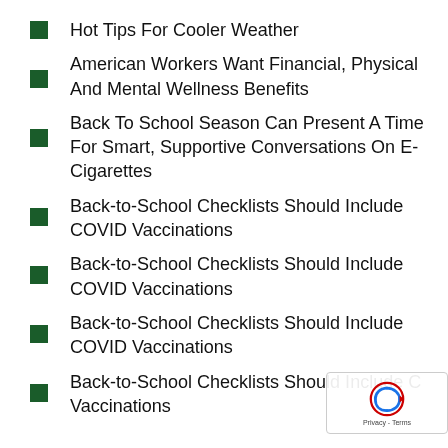Hot Tips For Cooler Weather
American Workers Want Financial, Physical And Mental Wellness Benefits
Back To School Season Can Present A Time For Smart, Supportive Conversations On E-Cigarettes
Back-to-School Checklists Should Include COVID Vaccinations
Back-to-School Checklists Should Include COVID Vaccinations
Back-to-School Checklists Should Include COVID Vaccinations
Back-to-School Checklists Should Include COVID Vaccinations